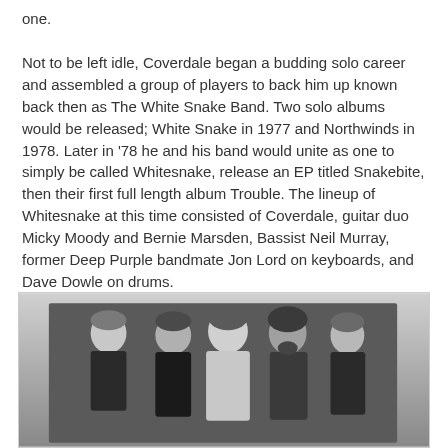one.
Not to be left idle, Coverdale began a budding solo career and assembled a group of players to back him up known back then as The White Snake Band. Two solo albums would be released; White Snake in 1977 and Northwinds in 1978. Later in '78 he and his band would unite as one to simply be called Whitesnake, release an EP titled Snakebite, then their first full length album Trouble. The lineup of Whitesnake at this time consisted of Coverdale, guitar duo Micky Moody and Bernie Marsden, Bassist Neil Murray, former Deep Purple bandmate Jon Lord on keyboards, and Dave Dowle on drums.
[Figure (photo): Black and white band photo showing five members of Whitesnake posing together]